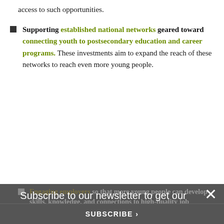access to such opportunities.
Supporting established national networks geared toward connecting youth to postsecondary education and career programs. These investments aim to expand the reach of these networks to reach even more young people.
Engaging employers so that more young people can develop skills, knowledge, and connections to high-quality job opportunities.
Additional Resources
Subscribe to our newsletter to get our data, reports and news in your inbox.
Opportunity Nation
Opportunity Youth Network (Aspen Institute Forum for Community Solutions)